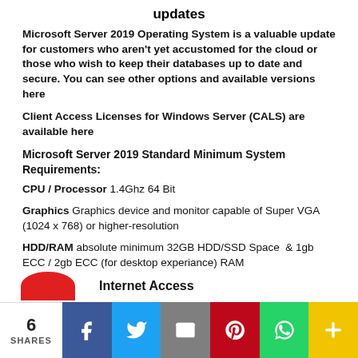updates
Microsoft Server 2019 Operating System is a valuable update for customers who aren't yet accustomed for the cloud or those who wish to keep their databases up to date and secure. You can see other options and available versions here
Client Access Licenses for Windows Server (CALS) are available here
Microsoft Server 2019 Standard Minimum System Requirements:
CPU / Processor 1.4Ghz 64 Bit
Graphics Graphics device and monitor capable of Super VGA (1024 x 768) or higher-resolution
HDD/RAM absolute minimum 32GB HDD/SSD Space  & 1gb ECC / 2gb ECC (for desktop experiance) RAM
Internet Access
6 SHARES | Facebook | Twitter | Email | Pinterest | WhatsApp | More